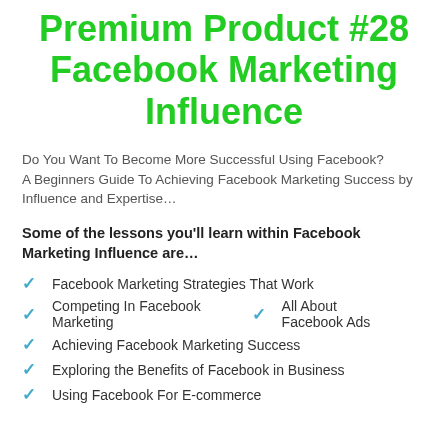Premium Product #28 Facebook Marketing Influence
Do You Want To Become More Successful Using Facebook?
A Beginners Guide To Achieving Facebook Marketing Success by Influence and Expertise…
Some of the lessons you'll learn within Facebook Marketing Influence are…
Facebook Marketing Strategies That Work
Competing In Facebook Marketing
All About Facebook Ads
Achieving Facebook Marketing Success
Exploring the Benefits of Facebook in Business
Using Facebook For E-commerce